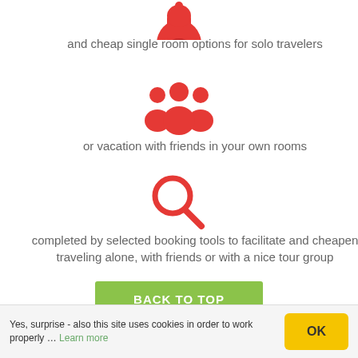[Figure (illustration): Red bell/hotel icon at top (partially visible)]
and cheap single room options for solo travelers
[Figure (illustration): Red group of people / friends icon]
or vacation with friends in your own rooms
[Figure (illustration): Red magnifying glass / search icon]
completed by selected booking tools to facilitate and cheapen traveling alone, with friends or with a nice tour group
BACK TO TOP
More great travel options not only, but
Yes, surprise - also this site uses cookies in order to work properly … Learn more
OK